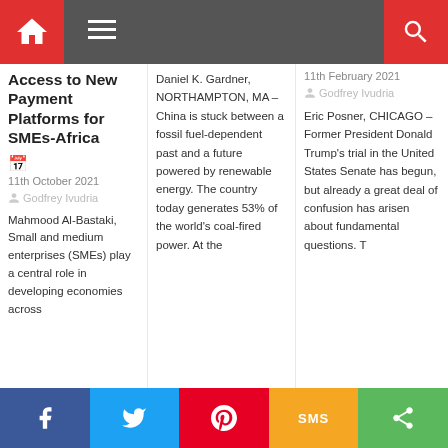Navigation header with home, menu, and search icons
Access to New Payment Platforms for SMEs-Africa
11th October 2021
Godfrey Ivudria
Mahmood Al-Bastaki, Small and medium enterprises (SMEs) play a central role in developing economies across
Daniel K. Gardner, NORTHAMPTON, MA – China is stuck between a fossil fuel-dependent past and a future powered by renewable energy. The country today generates 53% of the world's coal-fired power. At the
11th February 2021
Godfrey Ivudria
Eric Posner, CHICAGO – Former President Donald Trump's trial in the United States Senate has begun, but already a great deal of confusion has arisen about fundamental questions. T
Social share buttons: Facebook, Twitter, Pinterest, SMS, Share